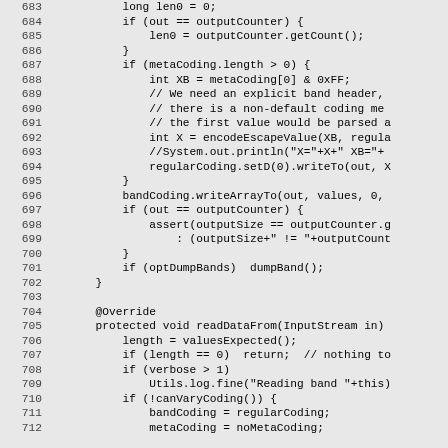Code listing lines 683-712, Java source code showing writeDataTo and readDataFrom methods with band coding logic